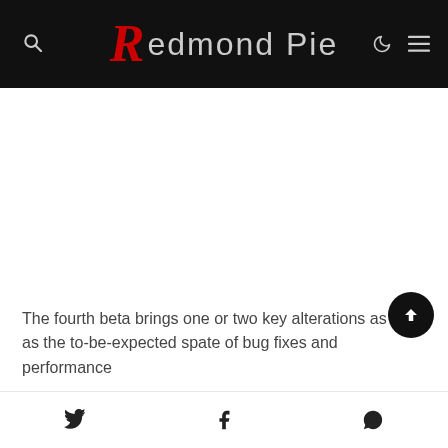Redmond Pie
[Figure (other): Advertisement/blank white area in the middle of the page]
The fourth beta brings one or two key alterations as well as the to-be-expected spate of bug fixes and performance
Twitter share, Facebook share, WhatsApp share icons